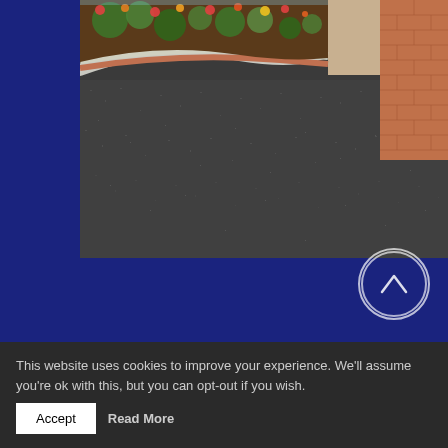[Figure (photo): Photograph of a dark tarmac/asphalt driveway with a curved brick and concrete garden border in the upper section, with colourful flowering plants visible behind the border. Brick wall visible on the right side.]
This website uses cookies to improve your experience. We'll assume you're ok with this, but you can opt-out if you wish. Accept Read More